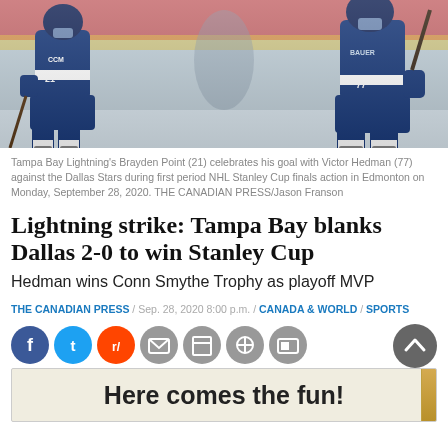[Figure (photo): Two Tampa Bay Lightning hockey players in blue and white uniforms on ice. One player wears CCM gear (number 21, Brayden Point), the other wears Bauer gear (number 77, Victor Hedman). They are celebrating on the ice.]
Tampa Bay Lightning's Brayden Point (21) celebrates his goal with Victor Hedman (77) against the Dallas Stars during first period NHL Stanley Cup finals action in Edmonton on Monday, September 28, 2020. THE CANADIAN PRESS/Jason Franson
Lightning strike: Tampa Bay blanks Dallas 2-0 to win Stanley Cup
Hedman wins Conn Smythe Trophy as playoff MVP
THE CANADIAN PRESS / Sep. 28, 2020 8:00 p.m. / CANADA & WORLD / SPORTS
[Figure (infographic): Row of social media sharing icons: Facebook (blue circle), Twitter (blue circle), Reddit (orange circle), Email (gray circle), Print (gray circle), another gray circle, and an image/photo icon (gray circle). A dark gray back-to-top button (circle with up chevron) on the far right.]
[Figure (infographic): Advertisement banner reading 'Here comes the fun!' in bold dark text on a light beige/gray background with a gold/yellow right edge accent.]